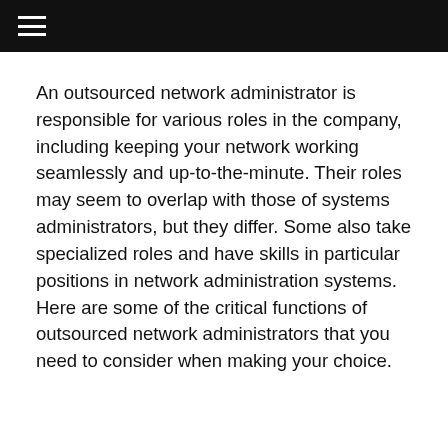☰
An outsourced network administrator is responsible for various roles in the company, including keeping your network working seamlessly and up-to-the-minute. Their roles may seem to overlap with those of systems administrators, but they differ. Some also take specialized roles and have skills in particular positions in network administration systems. Here are some of the critical functions of outsourced network administrators that you need to consider when making your choice.